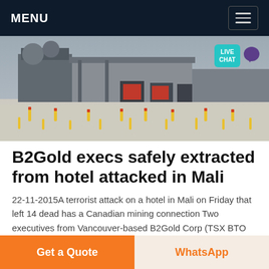MENU
[Figure (photo): Industrial facility exterior with large warehouse building, loading bays with trucks, bollards in foreground, and a Live Chat bubble overlay in the top right corner.]
B2Gold execs safely extracted from hotel attacked in Mali
22-11-2015A terrorist attack on a hotel in Mali on Friday that left 14 dead has a Canadian mining connection Two executives from Vancouver-based B2Gold Corp (TSX BTO NYSE BTG) were staying at the Radisson Blu hotel in the